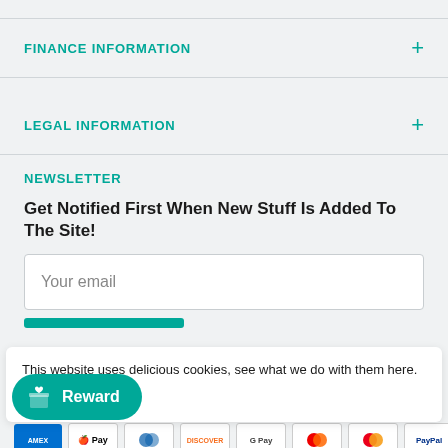FINANCE INFORMATION
LEGAL INFORMATION
NEWSLETTER
Get Notified First When New Stuff Is Added To The Site!
Your email
This website uses delicious cookies, see what we do with them here.
Privacy Policy
Reward
[Figure (infographic): Payment method icons: American Express, Apple Pay, Diners, Discover, Google Pay, Maestro, Mastercard, PayPal, Shop Pay]